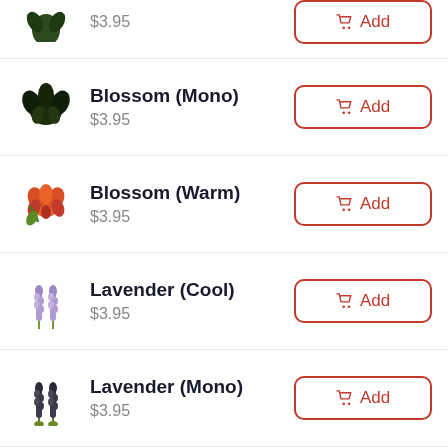$3.95 [partial row, price only visible]
Blossom (Mono) $3.95
Blossom (Warm) $3.95
Lavender (Cool) $3.95
Lavender (Mono) $3.95